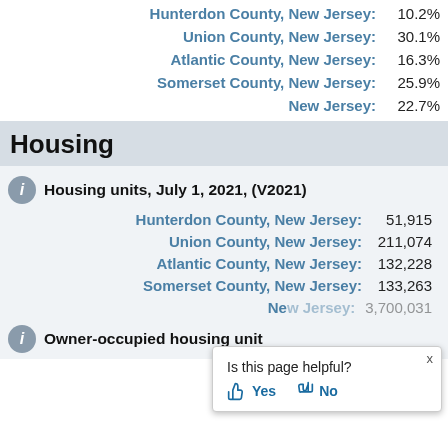| Place | Value |
| --- | --- |
| Hunterdon County, New Jersey: | 10.2% |
| Union County, New Jersey: | 30.1% |
| Atlantic County, New Jersey: | 16.3% |
| Somerset County, New Jersey: | 25.9% |
| New Jersey: | 22.7% |
Housing
Housing units, July 1, 2021, (V2021)
| Place | Value |
| --- | --- |
| Hunterdon County, New Jersey: | 51,915 |
| Union County, New Jersey: | 211,074 |
| Atlantic County, New Jersey: | 132,228 |
| Somerset County, New Jersey: | 133,263 |
| New Jersey: | 3,700,031 |
Owner-occupied housing unit
Is this page helpful? Yes No